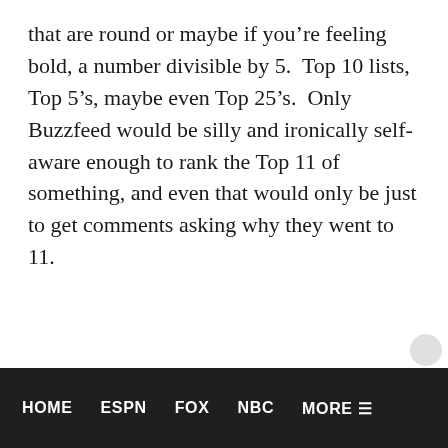that are round or maybe if you're feeling bold, a number divisible by 5.  Top 10 lists, Top 5's, maybe even Top 25's.  Only Buzzfeed would be silly and ironically self-aware enough to rank the Top 11 of something, and even that would only be just to get comments asking why they went to 11.
HOME    ESPN    FOX    NBC    MORE ≡